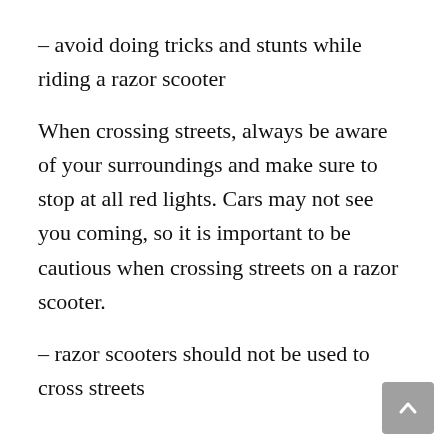– avoid doing tricks and stunts while riding a razor scooter
When crossing streets, always be aware of your surroundings and make sure to stop at all red lights. Cars may not see you coming, so it is important to be cautious when crossing streets on a razor scooter.
– razor scooters should not be used to cross streets